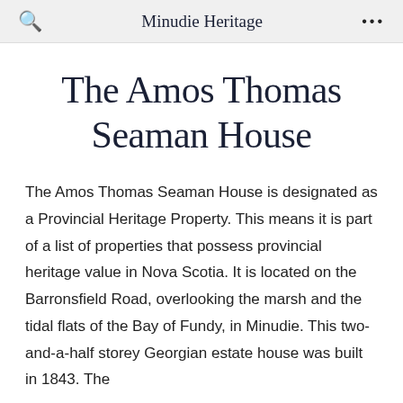Minudie Heritage
The Amos Thomas Seaman House
The Amos Thomas Seaman House is designated as a Provincial Heritage Property. This means it is part of a list of properties that possess provincial heritage value in Nova Scotia. It is located on the Barronsfield Road, overlooking the marsh and the tidal flats of the Bay of Fundy, in Minudie. This two-and-a-half storey Georgian estate house was built in 1843. The